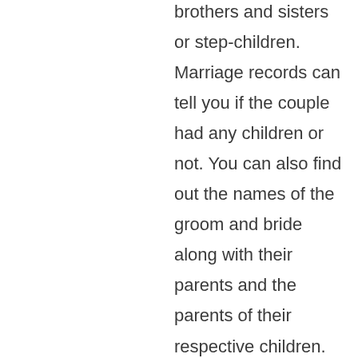brothers and sisters or step-children. Marriage records can tell you if the couple had any children or not. You can also find out the names of the groom and bride along with their parents and the parents of their respective children.

Although marriage records are public record, they are only accessible via the clerk of court in the county where the marriage happened. They can only be viewed for a specific period of time, usually within 14 days. The reason for this is to keep information from being manipulated and altered